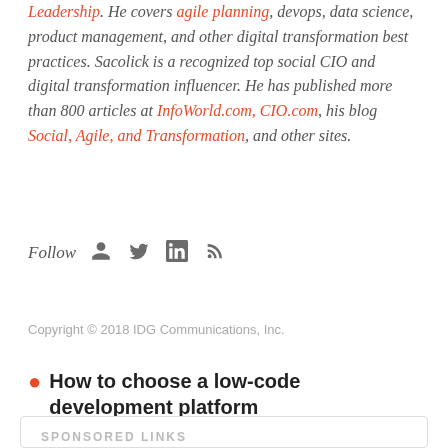Leadership. He covers agile planning, devops, data science, product management, and other digital transformation best practices. Sacolick is a recognized top social CIO and digital transformation influencer. He has published more than 800 articles at InfoWorld.com, CIO.com, his blog Social, Agile, and Transformation, and other sites.
Follow [icons: person, twitter, linkedin, rss]
Copyright © 2018 IDG Communications, Inc.
How to choose a low-code development platform
SPONSORED LINKS